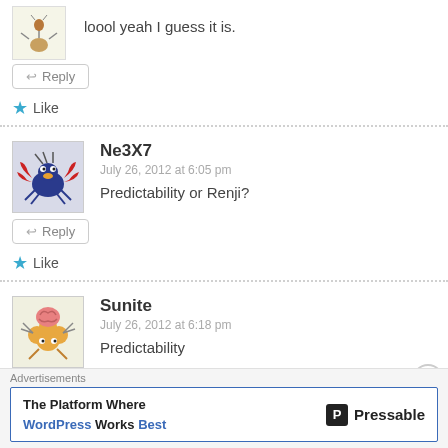loool yeah I guess it is.
↩ Reply
★ Like
Ne3X7
July 26, 2012 at 6:05 pm
Predictability or Renji?
↩ Reply
★ Like
Sunite
July 26, 2012 at 6:18 pm
Predictability
Advertisements
The Platform Where WordPress Works Best   Pressable